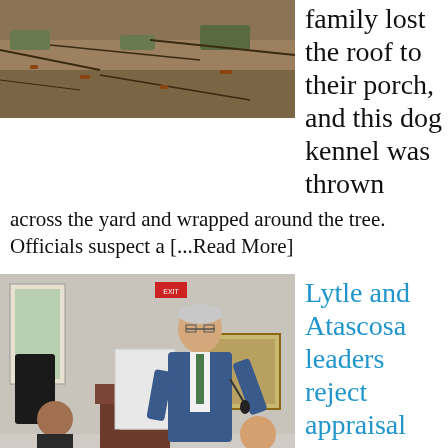[Figure (photo): Outdoor photo showing ground with pine needles, roots, and a dog kennel wrapped around a tree after storm damage.]
family lost the roof to their porch, and this dog kennel was thrown across the yard and wrapped around the tree. Officials suspect a [...Read More]
[Figure (photo): Indoor photo of an older man in a blue suit speaking at a podium at a public meeting, with other attendees visible in the background.]
Lytle and Atascosa leaders reject appraisal district'